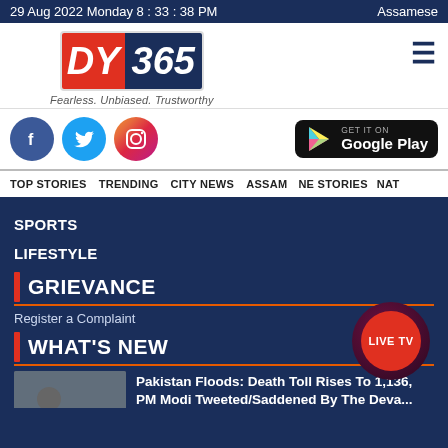29 Aug 2022 Monday 8 : 33 : 38 PM    Assamese
[Figure (logo): DY365 news logo with red DY and dark blue 365, tagline: Fearless. Unbiased. Trustworthy]
[Figure (infographic): Social media icons: Facebook, Twitter, Instagram and Get it on Google Play button]
TOP STORIES   TRENDING   CITY NEWS   ASSAM   NE STORIES   NAT
SPORTS
LIFESTYLE
GRIEVANCE
Register a Complaint
WHAT'S NEW
[Figure (infographic): LIVE TV red circle button]
Pakistan Floods: Death Toll Rises To 1,136, PM Modi Tweeted/Saddened By The Deva...